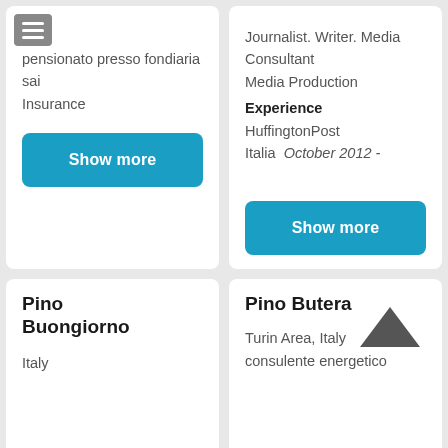pensionato presso fondiaria sai Insurance
Journalist. Writer. Media Consultant
Media Production
Experience
HuffingtonPost Italia October 2012 -
Show more
Show more
Pino Buongiorno
Italy
Pino Butera
Turin Area, Italy
consulente energetico